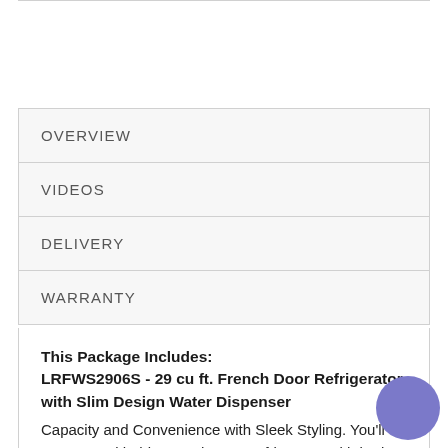OVERVIEW
VIDEOS
DELIVERY
WARRANTY
This Package Includes: LRFWS2906S - 29 cu ft. French Door Refrigerator with Slim Design Water Dispenser
Capacity and Convenience with Sleek Styling. You'll get more with this French-Door refrigerator with in-door water dispenser. This sleek fridge offers an abundance of space and LG's most